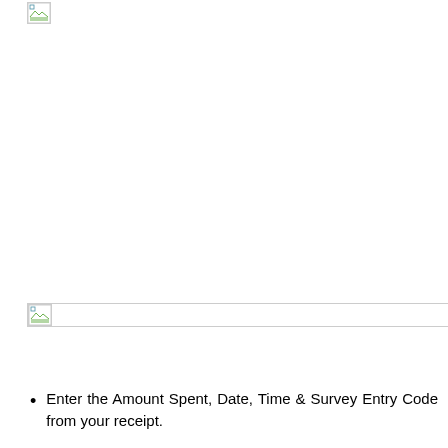[Figure (other): Broken image placeholder at top of page]
[Figure (other): Broken image placeholder in middle of page]
Enter the Amount Spent, Date, Time & Survey Entry Code from your receipt.